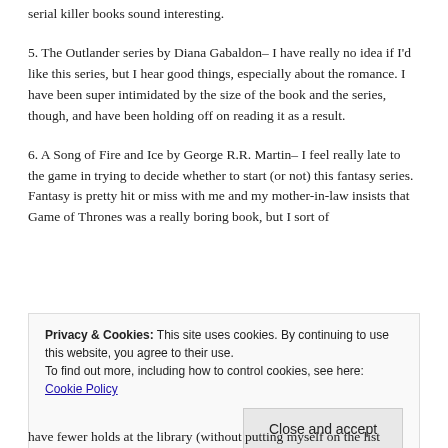serial killer books sound interesting.
5. The Outlander series by Diana Gabaldon– I have really no idea if I'd like this series, but I hear good things, especially about the romance.  I have been super intimidated by the size of the book and the series, though, and have been holding off on reading it as a result.
6. A Song of Fire and Ice by George R.R. Martin– I feel really late to the game in trying to decide whether to start (or not) this fantasy series.  Fantasy is pretty hit or miss with me and my mother-in-law insists that Game of Thrones was a really boring book, but I sort of
Privacy & Cookies: This site uses cookies. By continuing to use this website, you agree to their use.
To find out more, including how to control cookies, see here: Cookie Policy
Close and accept
have fewer holds at the library (without putting myself on the list